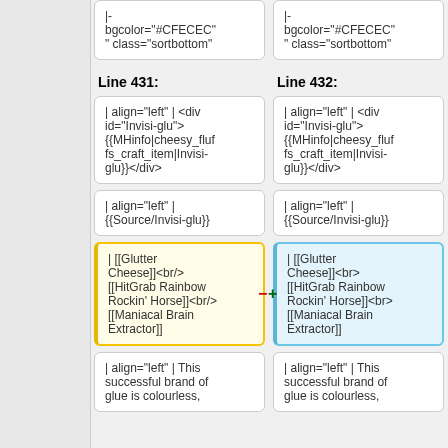|- bgcolor="#CFECEC" class="sortbottom"
|- bgcolor="#CFECEC" class="sortbottom"
Line 431:
Line 432:
| align="left" | <div id="Invisi-glu"> {{MHinfo|cheesy_fluffs_craft_item|Invisi-glu}}</div>
| align="left" | <div id="Invisi-glu"> {{MHinfo|cheesy_fluffs_craft_item|Invisi-glu}}</div>
| align="left" | {{Source/Invisi-glu}}
| align="left" | {{Source/Invisi-glu}}
| [[Glutter Cheese]]<br/> [[HitGrab Rainbow Rockin' Horse]]<br/> [[Maniacal Brain Extractor]]
| [[Glutter Cheese]]<br> [[HitGrab Rainbow Rockin' Horse]]<br> [[Maniacal Brain Extractor]]
| align="left" | This successful brand of glue is colourless,
| align="left" | This successful brand of glue is colourless,